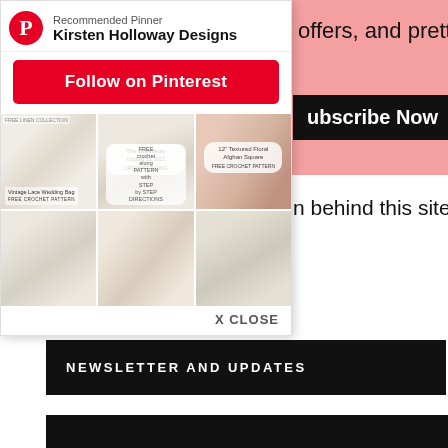offers, and pretty
Subscribe Now
n behind this site,
[Figure (screenshot): Pinterest popup widget showing Recommended Pinner Kirsten Holloway Designs, a red Follow on Pinterest button, and a grid of crochet/knitting project images with labels including 'The Greenway', '12" Textured Floral Afghan Square', 'Vintage Lace Wedding Bag FREE CROCHET PATTERN', and free crochet pattern images. X CLOSE button at bottom right.]
NEWSLETTER AND UPDATES